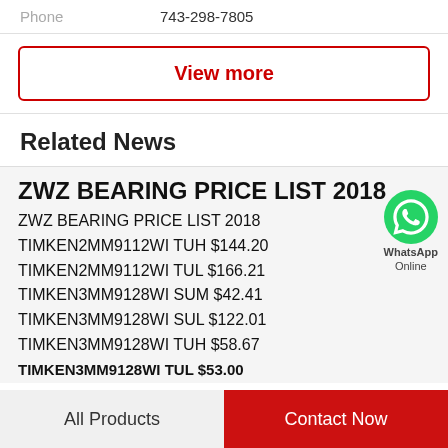Phone   743-298-7805
View more
Related News
[Figure (logo): WhatsApp green circle logo with phone icon, labeled 'WhatsApp Online']
ZWZ BEARING PRICE LIST 2018
ZWZ BEARING PRICE LIST 2018 TIMKEN2MM9112WI TUH $144.20 TIMKEN2MM9112WI TUL $166.21 TIMKEN3MM9128WI SUM $42.41 TIMKEN3MM9128WI SUL $122.01 TIMKEN3MM9128WI TUH $58.67 TIMKEN3MM9128WI TUL $53.00
All Products
Contact Now